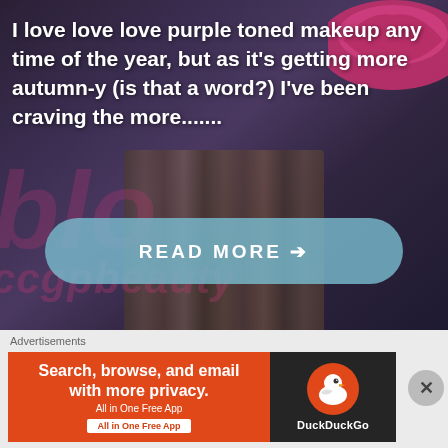[Figure (screenshot): Blog post card with dark purple background showing beauty blog content. Watermark text 'blo' and 'ccgpbeauty' visible. Pink lips graphic in top right corner.]
I love love love purple toned makeup any time of the year, but as it’s getting more autumn-y (is that a word?) I’ve been craving the more.......
READ MORE →
[Figure (photo): Dark background photo showing partial face/hair at bottom of card section.]
THE DARK LIPS ARE BACK
Advertisements
[Figure (screenshot): DuckDuckGo advertisement banner. Left orange side: 'Search, browse, and email with more privacy. All in One Free App'. Right dark side: DuckDuckGo logo with duck icon.]